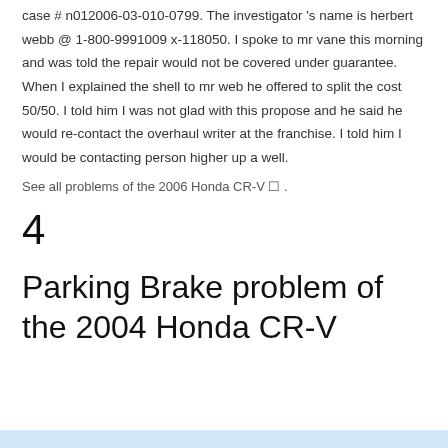case # n012006-03-010-0799. The investigator 's name is herbert webb @ 1-800-9991009 x-118050. I spoke to mr vane this morning and was told the repair would not be covered under guarantee. When I explained the shell to mr web he offered to split the cost 50/50. I told him I was not glad with this propose and he said he would re-contact the overhaul writer at the franchise. I told him I would be contacting person higher up a well.
See all problems of the 2006 Honda CR-V ☐ .
4
Parking Brake problem of the 2004 Honda CR-V